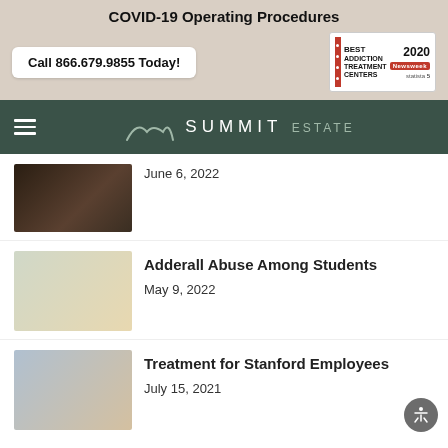COVID-19 Operating Procedures
Call 866.679.9855 Today!
[Figure (logo): Best Addiction Treatment Centers 2020 - Newsweek / Statista award badge]
[Figure (logo): Summit Estate logo with mountain icon and navigation hamburger menu]
[Figure (photo): Dark photo, partial view, June 6 2022 article thumbnail]
June 6, 2022
[Figure (photo): Young man outdoors, Adderall Abuse Among Students article thumbnail]
Adderall Abuse Among Students
May 9, 2022
[Figure (photo): Two people in conversation, Treatment for Stanford Employees article thumbnail]
Treatment for Stanford Employees
July 15, 2021